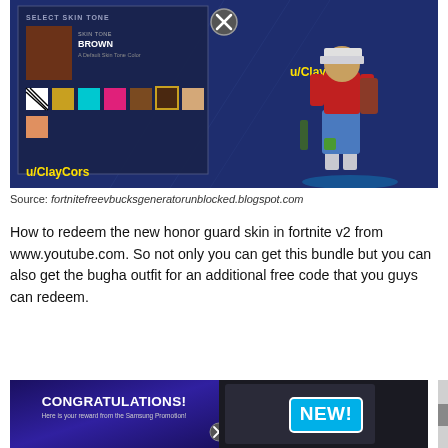[Figure (screenshot): Fortnite game screenshot showing skin tone selection panel on left with brown skin tone selected, color swatches including striped, gold, cyan, pink, brown, dark brown (gold border), and peach options, username u/ClayCors in yellow at bottom left. Right side shows a Fortnite character in red/blue/green outfit with white cap, username u/ClayCors in yellow. Dark blue game background.]
Source: fortnitefreevbucksgeneratorunblocked.blogspot.com
How to redeem the new honor guard skin in fortnite v2 from www.youtube.com. So not only you can get this bundle but you can also get the bugha outfit for an additional free code that you guys can redeem.
[Figure (screenshot): Two-panel screenshot. Left panel shows a dark purple/blue screen with 'CONGRATULATIONS!' in white bold text and subtitle 'Here is your reward from the Samsung Promotion!' with a close (X) button. Right panel shows a dark background with 'NEW!' in large cyan/blue bold text on what appears to be a gaming device display.]